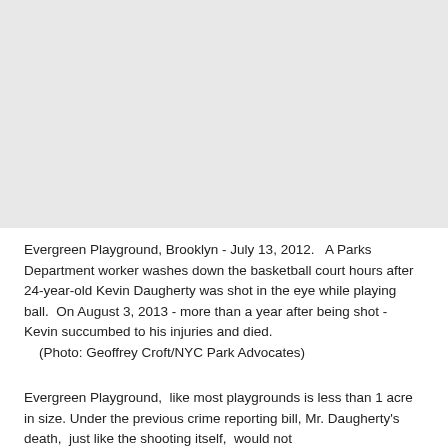[Figure (photo): A large light gray rectangular area representing a photograph of Evergreen Playground basketball court in Brooklyn, July 13, 2012.]
Evergreen Playground, Brooklyn - July 13, 2012.   A Parks Department worker washes down the basketball court hours after 24-year-old Kevin Daugherty was shot in the eye while playing ball.  On August 3, 2013 - more than a year after being shot - Kevin succumbed to his injuries and died.
    (Photo: Geoffrey Croft/NYC Park Advocates)
Evergreen Playground,  like most playgrounds is less than 1 acre in size. Under the previous crime reporting bill, Mr. Daugherty's death,  just like the shooting itself,  would not